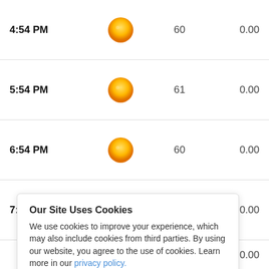| Time | Condition | Temp | Precip |
| --- | --- | --- | --- |
| 4:54 PM | sunny | 60 | 0.00 |
| 5:54 PM | sunny | 61 | 0.00 |
| 6:54 PM | sunny | 60 | 0.00 |
| 7:54 PM | sunny | 58 | 0.00 |
Our Site Uses Cookies
We use cookies to improve your experience, which may also include cookies from third parties. By using our website, you agree to the use of cookies. Learn more in our privacy policy.
ACCEPT & CLOSE